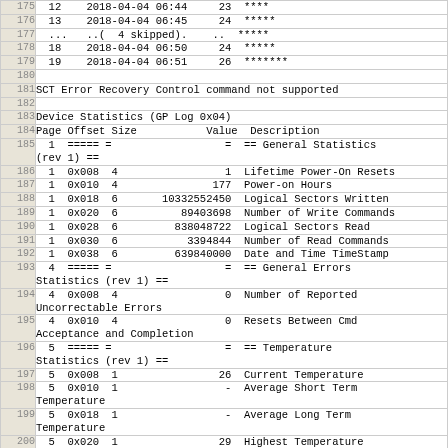| Line | Content |
| --- | --- |
| 175 |   12    2018-04-04 06:44     23  **** |
| 176 |   13    2018-04-04 06:45     24  ***** |
| 177 |   ...   ..(  4 skipped).    ..  ***** |
| 178 |   18    2018-04-04 06:50     24  ***** |
| 179 |   19    2018-04-04 06:51     26  ******* |
| 180 |  |
| 181 | SCT Error Recovery Control command not supported |
| 182 |  |
| 183 | Device Statistics (GP Log 0x04) |
| 184 | Page Offset Size           Value  Description |
| 185 |   1  ===== =                  =  == General Statistics
(rev 1) == |
| 186 |   1  0x008  4                 1  Lifetime Power-On Resets |
| 187 |   1  0x010  4               177  Power-on Hours |
| 188 |   1  0x018  6       10332552450  Logical Sectors Written |
| 189 |   1  0x020  6          89403698  Number of Write Commands |
| 190 |   1  0x028  6         838048722  Logical Sectors Read |
| 191 |   1  0x030  6           3394844  Number of Read Commands |
| 192 |   1  0x038  6         639840000  Date and Time TimeStamp |
| 193 |   4  ===== =                  =  == General Errors
Statistics (rev 1) == |
| 194 |   4  0x008  4                 0  Number of Reported
Uncorrectable Errors |
| 195 |   4  0x010  4                 0  Resets Between Cmd
Acceptance and Completion |
| 196 |   5  ===== =                  =  == Temperature
Statistics (rev 1) == |
| 197 |   5  0x008  1                26  Current Temperature |
| 198 |   5  0x010  1                 -  Average Short Term
Temperature |
| 199 |   5  0x018  1                 -  Average Long Term
Temperature |
| 200 |   5  0x020  1                29  Highest Temperature |